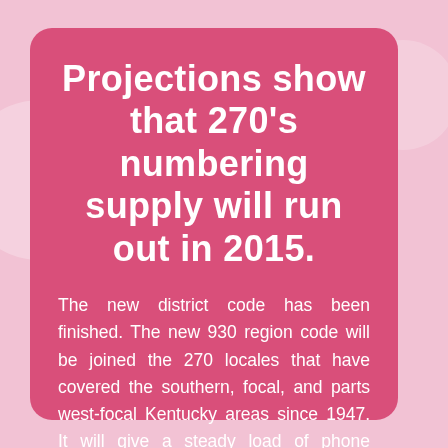Projections show that 270's numbering supply will run out in 2015.
The new district code has been finished. The new 930 region code will be joined the 270 locales that have covered the southern, focal, and parts west-focal Kentucky areas since 1947. It will give a steady load of phone numbers.